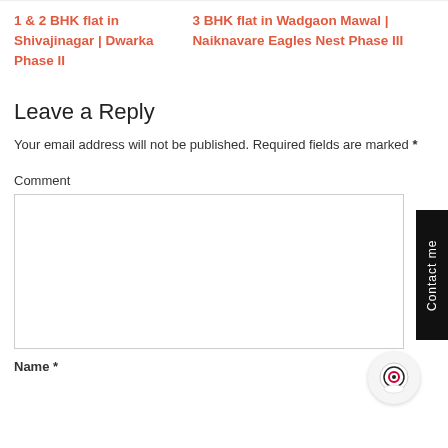1 & 2 BHK flat in Shivajinagar | Dwarka Phase II
3 BHK flat in Wadgaon Mawal | Naiknavare Eagles Nest Phase III
Leave a Reply
Your email address will not be published. Required fields are marked *
Comment
Name *